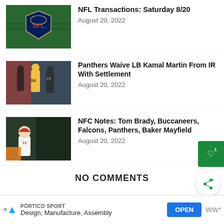[Figure (photo): NFL shield logo on green football field turf]
NFL Transactions: Saturday 8/20
August 20, 2022
[Figure (photo): Football players on field, one wearing #54 Green Bay Packers jersey]
Panthers Waive LB Kamal Martin From IR With Settlement
August 20, 2022
[Figure (photo): Tom Brady in Tampa Bay Buccaneers white jersey #12]
NFC Notes: Tom Brady, Buccaneers, Falcons, Panthers, Baker Mayfield
August 20, 2022
NO COMMENTS
PÓRTICO SPORT — Design, Manufacture, Assembly — OPEN